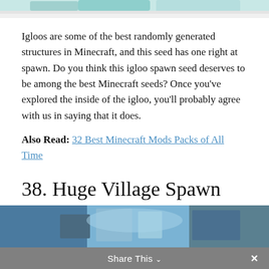[Figure (photo): Top portion of a Minecraft igloo screenshot, partially cropped at the top of the page]
Igloos are some of the best randomly generated structures in Minecraft, and this seed has one right at spawn. Do you think this igloo spawn seed deserves to be among the best Minecraft seeds? Once you've explored the inside of the igloo, you'll probably agree with us in saying that it does.
Also Read: 32 Best Minecraft Mods Packs of All Time
38. Huge Village Spawn
Minecraft PC 1.10 Seed name: 1156480890414905944
[Figure (photo): Minecraft screenshot showing a village spawn area with blue sky and structures, partially cropped at bottom]
Share This ∨  ×